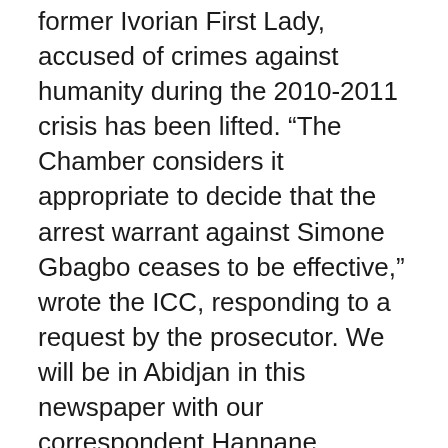former Ivorian First Lady, accused of crimes against humanity during the 2010-2011 crisis has been lifted. “The Chamber considers it appropriate to decide that the arrest warrant against Simone Gbagbo ceases to be effective,” wrote the ICC, responding to a request by the prosecutor. We will be in Abidjan in this newspaper with our correspondent Hannane Ferdjani.
In the rest of the newspaper de l’Afrique, the French Council of State validated Friday the extradition of François Compaoé to Burkina Faso, where this brother of the deposed president Blaise Compaoé is implicated in the investigation into the murder of a journalist, a case that has bruised this country. “The request of Mr. Compaoé is rejected,” state the decision